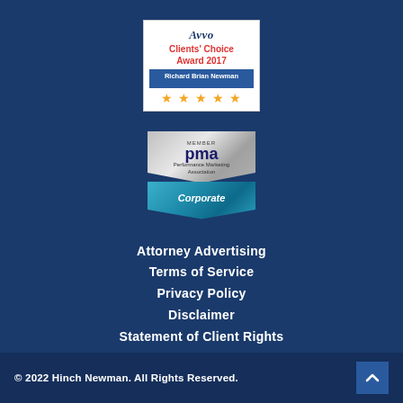[Figure (logo): Avvo Clients' Choice Award 2017 badge for Richard Brian Newman with 5 orange stars]
[Figure (logo): Performance Marketing Association (PMA) Corporate member badge in silver and teal chevron shape]
Attorney Advertising
Terms of Service
Privacy Policy
Disclaimer
Statement of Client Rights
Contact Us
info@hinchnewman.com
© 2022 Hinch Newman. All Rights Reserved.